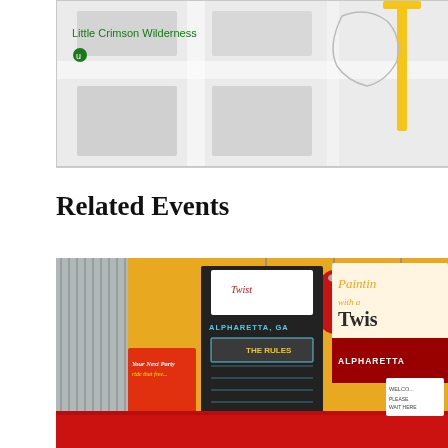[Figure (screenshot): Partial map screenshot showing 'Little Crimson Wilderness' label in green text, a green icon, and partial map elements on a light grey background. A yellow vertical element is visible on the right side.]
Related Events
[Figure (photo): Interior photo of a 'Painting with a Twist' location in Alpharetta, GA. Shows a red reception counter, red pendant lights, a yellow wall, chalkboard signs including 'THE RULES' and 'THE FUN', a sign reading 'Your Next Party', and a 'Painting with a Twist Alpharetta' logo sign on the right wall. A 'Please Wait Here to be Seated' sign is visible on the right.]